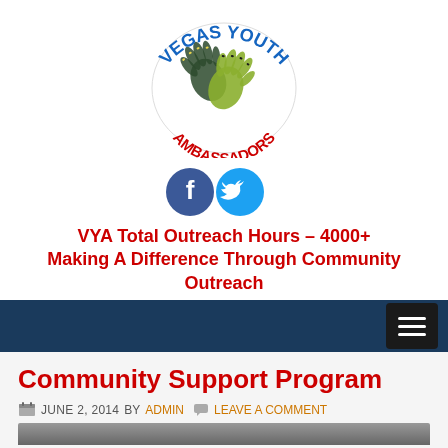[Figure (logo): Vegas Youth Ambassadors logo — two colorful handprints with 'VEGAS YOUTH' text arching above and 'AMBASSADORS' in red below]
[Figure (infographic): Facebook and Twitter social media icon circles — blue Facebook 'f' and light blue Twitter bird]
VYA Total Outreach Hours – 4000+
Making A Difference Through Community Outreach
Navigation bar with hamburger menu button
Community Support Program
JUNE 2, 2014 BY ADMIN  LEAVE A COMMENT
[Figure (photo): Partial thumbnail image visible at bottom of page]